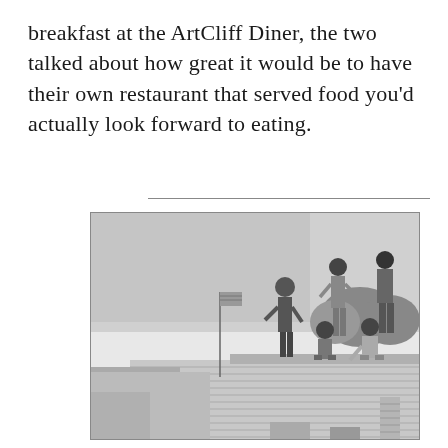breakfast at the ArtCliff Diner, the two talked about how great it would be to have their own restaurant that served food you'd actually look forward to eating.
[Figure (photo): Black and white photograph of a group of young people posing on what appears to be the roof or elevated structure of a building under construction or renovation. Several people are standing and sitting, wearing casual summer clothing. A flag is visible in the background, along with trees and other buildings.]